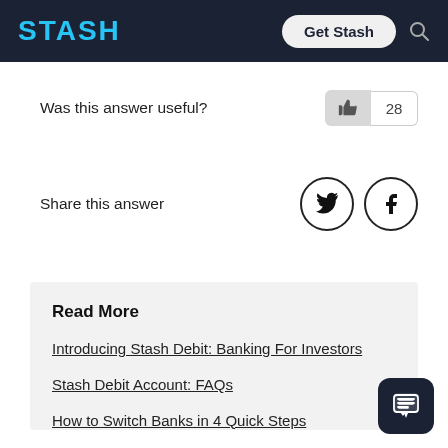STASH
Was this answer useful?
Share this answer
Read More
Introducing Stash Debit: Banking For Investors
Stash Debit Account: FAQs
How to Switch Banks in 4 Quick Steps